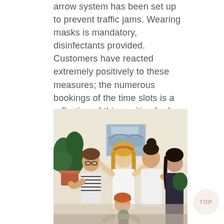arrow system has been set up to prevent traffic jams. Wearing masks is mandatory, disinfectants provided. Customers have reacted extremely positively to these measures; the numerous bookings of the time slots is a reflection of this positive feeling.
[Figure (photo): Group photo of five young people, some holding potted plants, in a bright indoor space with a painting on the wall behind them.]